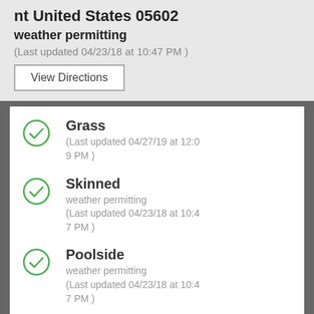nt United States 05602
weather permitting
(Last updated 04/23/18 at 10:47 PM )
View Directions
Grass
(Last updated 04/27/19 at 12:09 PM )
Skinned
weather permitting
(Last updated 04/23/18 at 10:47 PM )
Poolside
weather permitting
(Last updated 04/23/18 at 10:47 PM )
Middlesex